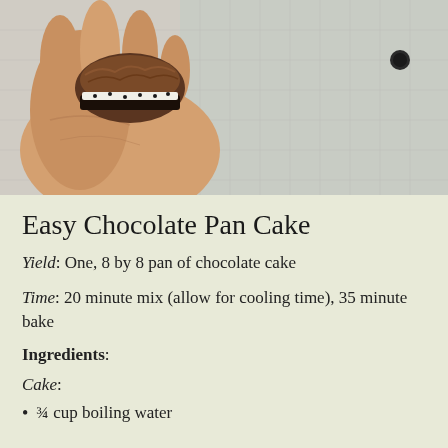[Figure (photo): A hand holding a chocolate pan cake with dark chocolate frosting and white cream filling, held against a light fabric background.]
Easy Chocolate Pan Cake
Yield: One, 8 by 8 pan of chocolate cake
Time: 20 minute mix (allow for cooling time), 35 minute bake
Ingredients:
Cake:
¾ cup boiling water